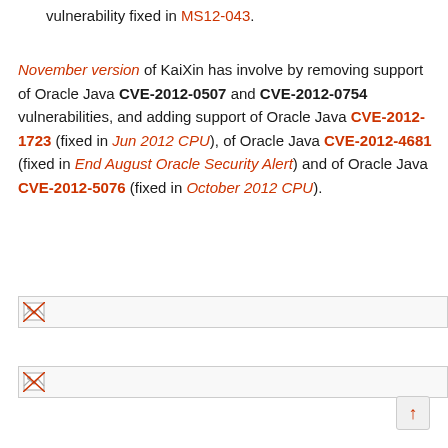vulnerability fixed in MS12-043.
November version of KaiXin has involve by removing support of Oracle Java CVE-2012-0507 and CVE-2012-0754 vulnerabilities, and adding support of Oracle Java CVE-2012-1723 (fixed in Jun 2012 CPU), of Oracle Java CVE-2012-4681 (fixed in End August Oracle Security Alert) and of Oracle Java CVE-2012-5076 (fixed in October 2012 CPU).
[Figure (other): Broken image placeholder 1]
[Figure (other): Broken image placeholder 2]